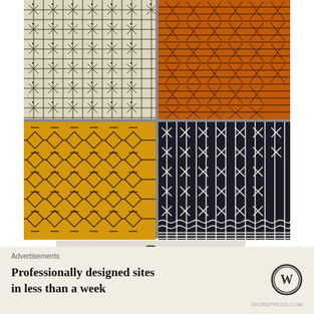[Figure (photo): Four African mudcloth fabric swatches arranged in a 2x2 grid. Top-left: black geometric cross-hatch on cream background. Top-right: orange/rust fabric with X and cross patterns. Bottom-left: yellow/gold fabric with diamond and dash patterns. Bottom-right: dark navy/black fabric with white vertical stripes and X symbols.]
[Figure (illustration): A light beige/cream rectangular link preview box with a chain link icon in the center, suggesting a hyperlink preview.]
[Figure (illustration): A circular close/dismiss button (X inside circle) on the right side.]
Advertisements
Professionally designed sites in less than a week